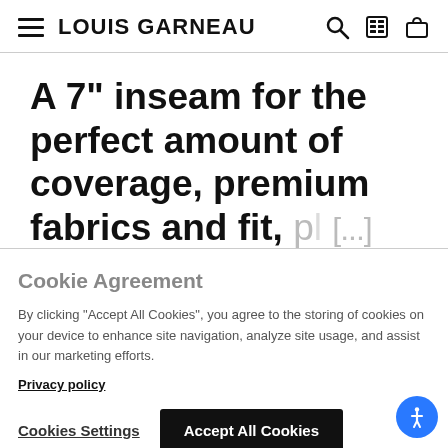LOUIS GARNEAU
A 7" inseam for the perfect amount of coverage, premium fabrics and fit, pl[...]
Cookie Agreement
By clicking "Accept All Cookies", you agree to the storing of cookies on your device to enhance site navigation, analyze site usage, and assist in our marketing efforts.
Privacy policy
Cookies Settings
Accept All Cookies